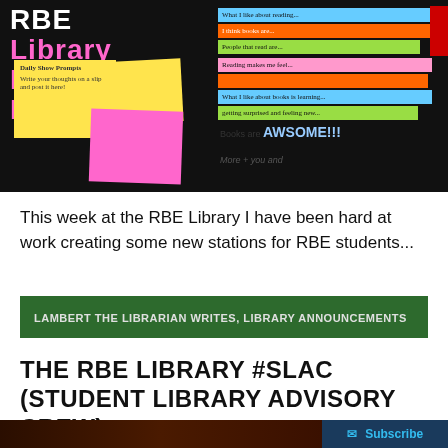[Figure (photo): RBE Library Micro Blogging board with colorful sticky notes and paper strips on a dark background]
This week at the RBE Library I have been hard at work creating some new stations for RBE students...
LAMBERT THE LIBRARIAN WRITES, LIBRARY ANNOUNCEMENTS
THE RBE LIBRARY #SLAC (STUDENT LIBRARY ADVISORY CREW)
[Figure (photo): Partial photo at bottom of page with Subscribe button overlay]